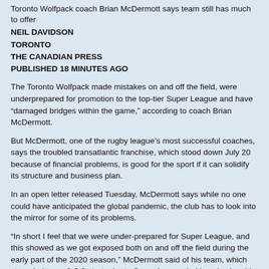Toronto Wolfpack coach Brian McDermott says team still has much to offer
NEIL DAVIDSON
TORONTO
THE CANADIAN PRESS
PUBLISHED 18 MINUTES AGO
The Toronto Wolfpack made mistakes on and off the field, were underprepared for promotion to the top-tier Super League and have “damaged bridges within the game,” according to coach Brian McDermott.
But McDermott, one of the rugby league’s most successful coaches, says the troubled transatlantic franchise, which stood down July 20 because of financial problems, is good for the sport if it can solidify its structure and business plan.
In an open letter released Tuesday, McDermott says while no one could have anticipated the global pandemic, the club has to look into the mirror for some of its problems.
“In short I feel that we were under-prepared for Super League, and this showed as we got exposed both on and off the field during the early part of the 2020 season,” McDermott said of his team, which struggled to an 0-6-0 start prior to Super League halting play in mid-March.